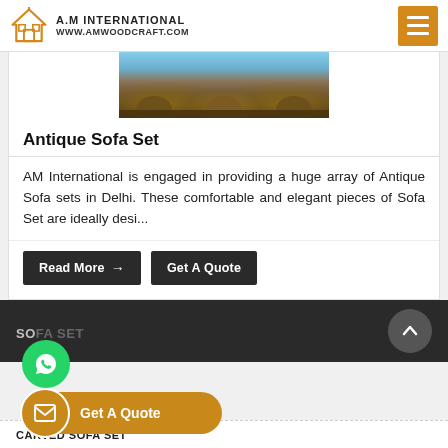A.M INTERNATIONAL www.amwoodcraft.com
[Figure (photo): Product image of ornate antique sofa set with detailed carved wooden work, viewed from front, against a blue sky background]
Antique Sofa Set
AM International is engaged in providing a huge array of Antique Sofa sets in Delhi. These comfortable and elegant pieces of Sofa Set are ideally desi...
Read More → | Get A Quote
[Figure (logo): WhatsApp floating action button (green circle with WhatsApp icon)]
SOFA SET
[Figure (other): Get A Quote floating button with mail icon on orange/amber background]
CARVED SOFA SET